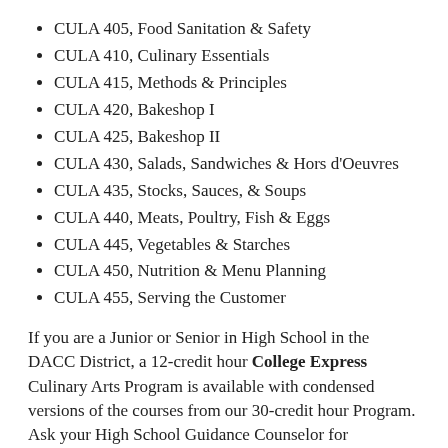CULA 405, Food Sanitation & Safety
CULA 410, Culinary Essentials
CULA 415, Methods & Principles
CULA 420, Bakeshop I
CULA 425, Bakeshop II
CULA 430, Salads, Sandwiches & Hors d'Oeuvres
CULA 435, Stocks, Sauces, & Soups
CULA 440, Meats, Poultry, Fish & Eggs
CULA 445, Vegetables & Starches
CULA 450, Nutrition & Menu Planning
CULA 455, Serving the Customer
If you are a Junior or Senior in High School in the DACC District, a 12-credit hour College Express Culinary Arts Program is available with condensed versions of the courses from our 30-credit hour Program.  Ask your High School Guidance Counselor for information on enrolling in the following: